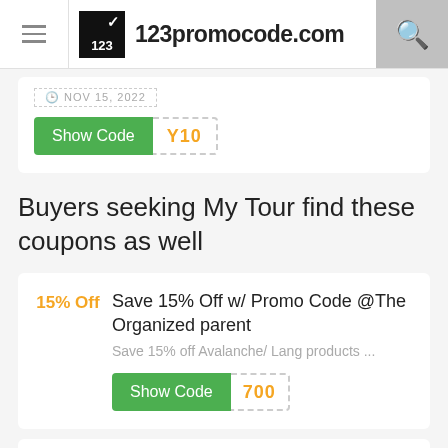123promocode.com
[Figure (screenshot): Show Code button with code Y10 and date Nov 15, 2022]
Buyers seeking My Tour find these coupons as well
15% Off
Save 15% Off w/ Promo Code @The Organized parent
Save 15% off Avalanche/ Lang products ...
[Figure (screenshot): Show Code button with code 700]
Save 10% at hushperformance/big